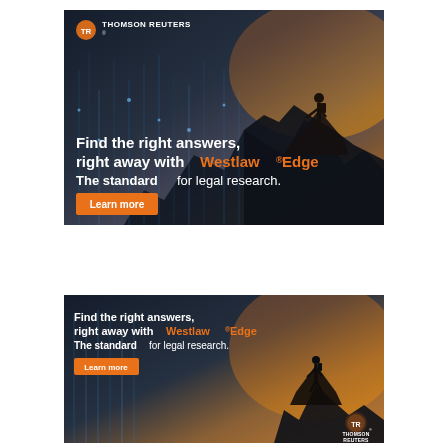[Figure (illustration): Thomson Reuters Westlaw Edge advertisement banner (large). Dark background with mountainous landscape, glowing digital data lines, silhouette of a person standing on a mountaintop. Thomson Reuters logo top-left. Text: 'Find the right answers, right away with Westlaw® Edge – The standard for legal research.' Orange 'Learn more' button.]
[Figure (illustration): Thomson Reuters Westlaw Edge advertisement banner (small/leaderboard). Dark background with figure on mountain right side, orange sunset. Text: 'Find the right answers, right away with Westlaw® Edge – The standard for legal research.' Orange 'Learn more' button. Thomson Reuters logo bottom-right.]